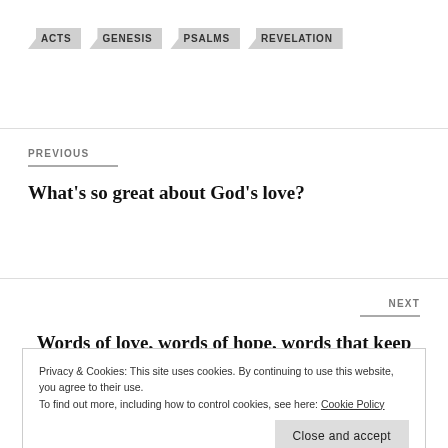ACTS
GENESIS
PSALMS
REVELATION
PREVIOUS
What's so great about God's love?
NEXT
Words of love, words of hope, words that keep on calling us to keep on believing in the Lord
Privacy & Cookies: This site uses cookies. By continuing to use this website, you agree to their use.
To find out more, including how to control cookies, see here: Cookie Policy
Close and accept